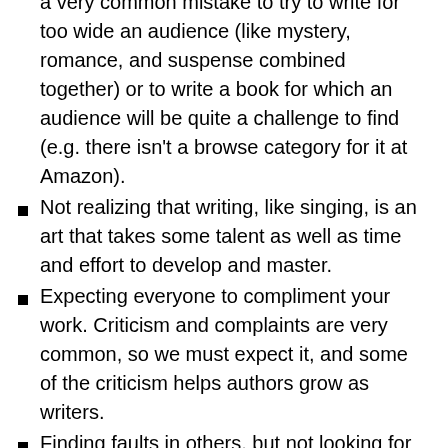a very common mistake to try to write for too wide an audience (like mystery, romance, and suspense combined together) or to write a book for which an audience will be quite a challenge to find (e.g. there isn't a browse category for it at Amazon).
Not realizing that writing, like singing, is an art that takes some talent as well as time and effort to develop and master.
Expecting everyone to compliment your work. Criticism and complaints are very common, so we must expect it, and some of the criticism helps authors grow as writers.
Finding faults in others, but not looking for them in ourselves. How often do we have advice for others, but not follow the same advice ourselves? And how often do we get upset with or ignore advice from others, instead of considering whether or not it may have